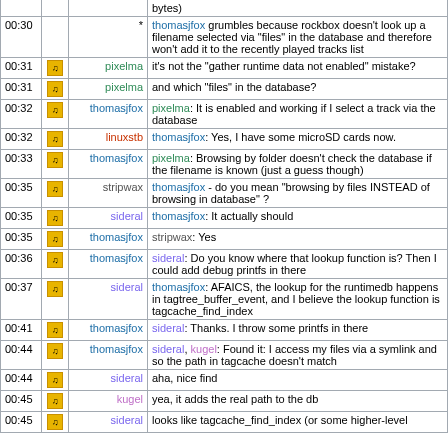| Time |  | Nick | Message |
| --- | --- | --- | --- |
|  |  |  | bytes) |
| 00:30 |  | * | thomasjfox grumbles because rockbox doesn't look up a filename selected via "files" in the database and therefore won't add it to the recently played tracks list |
| 00:31 | icon | pixelma | it's not the "gather runtime data not enabled" mistake? |
| 00:31 | icon | pixelma | and which "files" in the database? |
| 00:32 | icon | thomasjfox | pixelma: It is enabled and working if I select a track via the database |
| 00:32 | icon | linuxstb | thomasjfox: Yes, I have some microSD cards now. |
| 00:33 | icon | thomasjfox | pixelma: Browsing by folder doesn't check the database if the filename is known (just a guess though) |
| 00:35 | icon | stripwax | thomasjfox - do you mean "browsing by files INSTEAD of browsing in database" ? |
| 00:35 | icon | sideral | thomasjfox: It actually should |
| 00:35 | icon | thomasjfox | stripwax: Yes |
| 00:36 | icon | thomasjfox | sideral: Do you know where that lookup function is? Then I could add debug printfs in there |
| 00:37 | icon | sideral | thomasjfox: AFAICS, the lookup for the runtimedb happens in tagtree_buffer_event, and I believe the lookup function is tagcache_find_index |
| 00:41 | icon | thomasjfox | sideral: Thanks. I throw some printfs in there |
| 00:44 | icon | thomasjfox | sideral, kugel: Found it: I access my files via a symlink and so the path in tagcache doesn't match |
| 00:44 | icon | sideral | aha, nice find |
| 00:45 | icon | kugel | yea, it adds the real path to the db |
| 00:45 | icon | sideral | looks like tagcache_find_index (or some higher-level |